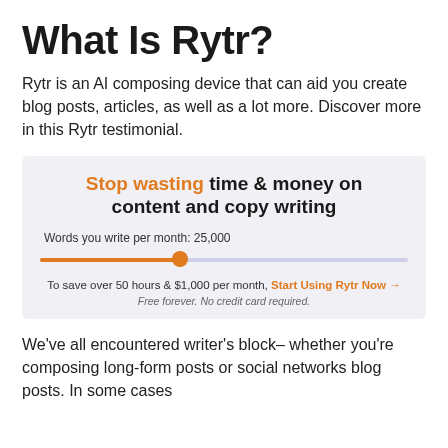What Is Rytr?
Rytr is an AI composing device that can aid you create blog posts, articles, as well as a lot more. Discover more in this Rytr testimonial.
[Figure (screenshot): Rytr promotional banner: 'Stop wasting time & money on content and copy writing' with a slider showing 'Words you write per month: 25,000', an orange filled track, and text 'To save over 50 hours & $1,000 per month, Start Using Rytr Now →' and 'Free forever. No credit card required.']
We've all encountered writer's block– whether you're composing long-form posts or social networks blog posts. In some cases